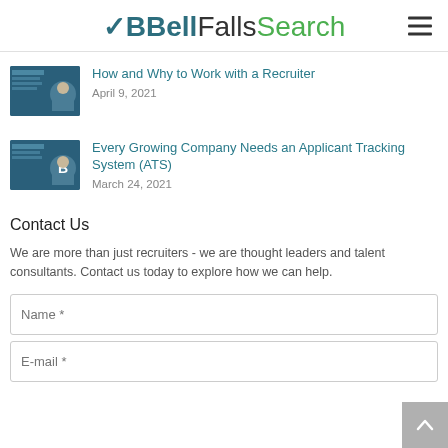Bell Falls Search
How and Why to Work with a Recruiter
April 9, 2021
Every Growing Company Needs an Applicant Tracking System (ATS)
March 24, 2021
Contact Us
We are more than just recruiters - we are thought leaders and talent consultants. Contact us today to explore how we can help.
Name *
E-mail *